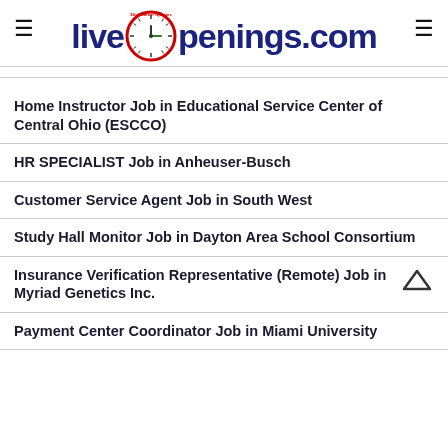[Figure (logo): LiveOpenings.com logo with clock icon and hamburger menu icons on left and right]
Home Instructor Job in Educational Service Center of Central Ohio (ESCCO)
HR SPECIALIST Job in Anheuser-Busch
Customer Service Agent Job in South West
Study Hall Monitor Job in Dayton Area School Consortium
Insurance Verification Representative (Remote) Job in Myriad Genetics Inc.
Payment Center Coordinator Job in Miami University